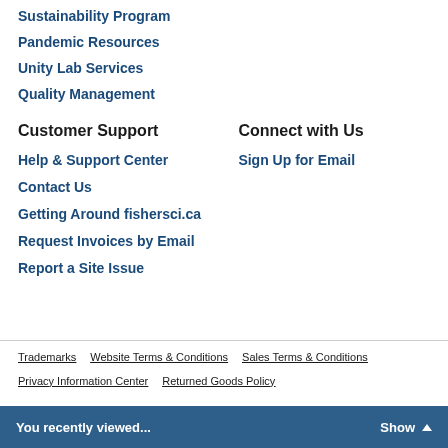Sustainability Program
Pandemic Resources
Unity Lab Services
Quality Management
Customer Support
Connect with Us
Help & Support Center
Sign Up for Email
Contact Us
Getting Around fishersci.ca
Request Invoices by Email
Report a Site Issue
Trademarks   Website Terms & Conditions   Sales Terms & Conditions   Privacy Information Center   Returned Goods Policy
You recently viewed...   Show